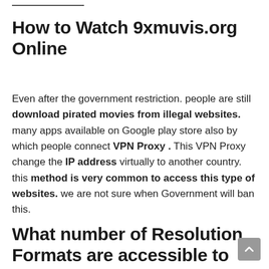How to Watch 9xmuvis.org Online
Even after the government restriction. people are still download pirated movies from illegal websites. many apps available on Google play store also by which people connect VPN Proxy . This VPN Proxy change the IP address virtually to another country. this method is very common to access this type of websites. we are not sure when Government will ban this.
What number of Resolution Formats are accessible to